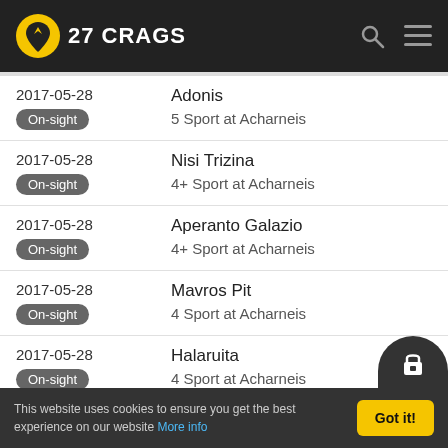27 CRAGS
2017-05-28 | On-sight | Adonis | 5 Sport at Acharneis
2017-05-28 | On-sight | Nisi Trizina | 4+ Sport at Acharneis
2017-05-28 | On-sight | Aperanto Galazio | 4+ Sport at Acharneis
2017-05-28 | On-sight | Mavros Pit | 4 Sport at Acharneis
2017-05-28 | On-sight | Halaruita | 4 Sport at Acharneis
2017-05-28 | On-sight | Dios Sotirios | 4 Sport at Acharneis
2017-05-28 | On-sight | Ime Efkoli | 5 Sport at Acharneis (partial)
This website uses cookies to ensure you get the best experience on our website More info | Got it!